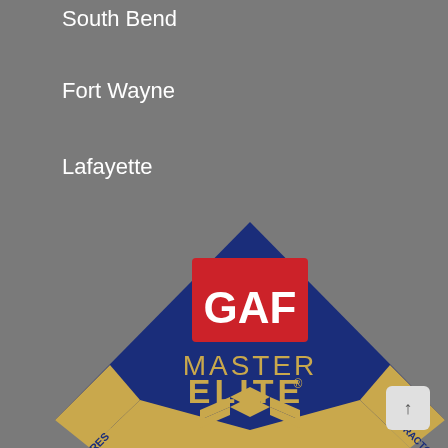South Bend
Fort Wayne
Lafayette
[Figure (logo): GAF Master Elite Residential Contractor diamond-shaped logo. Blue diamond with red GAF box at top center, gold text reading MASTER ELITE with registered trademark symbol, gold roof icon below, gold banner trim on left and right corners reading RESIDENTIAL CONTRACTOR.]